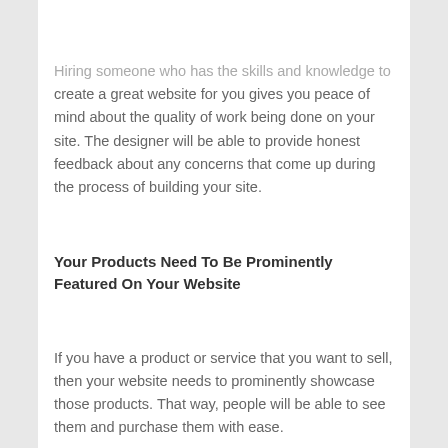≡
Hiring someone who has the skills and knowledge to create a great website for you gives you peace of mind about the quality of work being done on your site. The designer will be able to provide honest feedback about any concerns that come up during the process of building your site.
Your Products Need To Be Prominently Featured On Your Website
If you have a product or service that you want to sell, then your website needs to prominently showcase those products. That way, people will be able to see them and purchase them with ease.